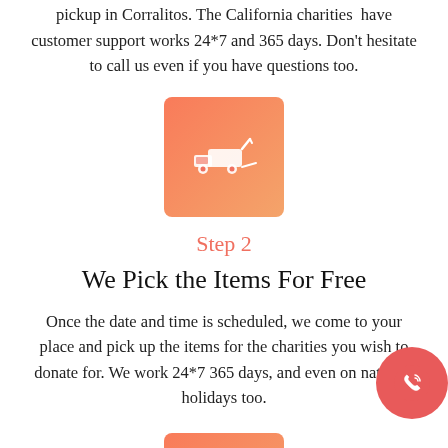pickup in Corralitos. The California charities have customer support works 24*7 and 365 days. Don't hesitate to call us even if you have questions too.
[Figure (illustration): Orange-red gradient square icon with a white tow truck symbol]
Step 2
We Pick the Items For Free
Once the date and time is scheduled, we come to your place and pick up the items for the charities you wish to donate for. We work 24*7 365 days, and even on national holidays too.
[Figure (illustration): Orange-red gradient square icon with a white clipboard/list with checkmark symbol]
Step 3